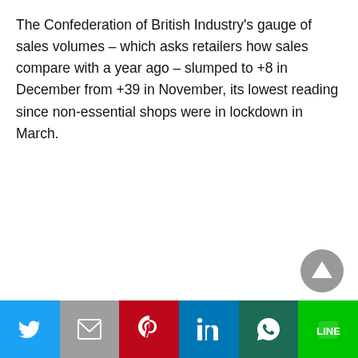The Confederation of British Industry's gauge of sales volumes – which asks retailers how sales compare with a year ago – slumped to +8 in December from +39 in November, its lowest reading since non-essential shops were in lockdown in March.
[Figure (other): Social share bar with Twitter, Gmail, Pinterest, LinkedIn, WhatsApp, and LINE buttons]